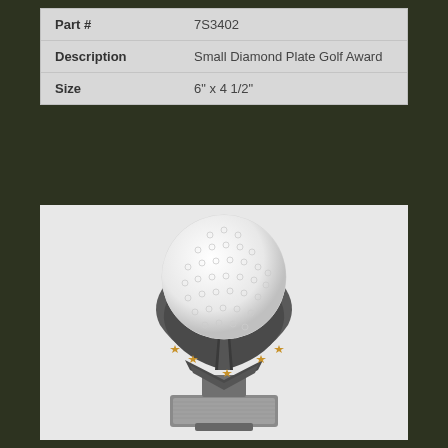| Field | Value |
| --- | --- |
| Part # | 7S3402 |
| Description | Small Diamond Plate Golf Award |
| Size | 6" x 4 1/2" |
[Figure (photo): Small Diamond Plate Golf Award trophy — a resin sculpture featuring a white golf ball on top, held by swept silver wings, with five gold stars and a silver rectangular base plate for engraving.]